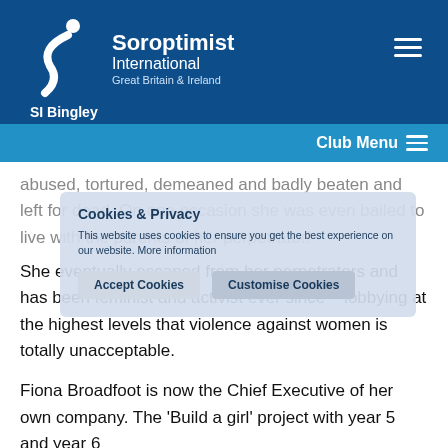[Figure (logo): Soroptimist International Great Britain & Ireland logo — white stylized figure/ribbon on dark blue background with text]
SI Bingley
Club Menu
abused, tortured, demeaned and badly beaten and left for dead. On one occasion she was even bailed to live with the parents of her perpetrator!
She eventually escaped from her perpetrators and has been feminist and activist ever since – lobbying at the highest levels that violence against women is totally unacceptable.
Fiona Broadfoot is now the Chief Executive of her own company. The 'Build a girl' project with year 5 and year 6
Cookies & Privacy
This website uses cookies to ensure you get the best experience on our website. More information
Accept Cookies   Customise Cookies